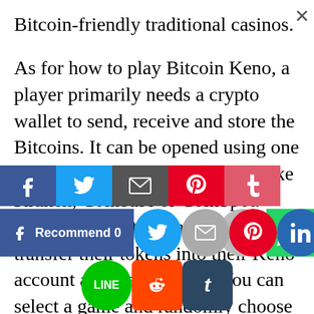Bitcoin-friendly traditional casinos.
As for how to play Bitcoin Keno, a player primarily needs a crypto wallet to send, receive and store the Bitcoins. It can be opened using one of the trusted crypto exchanges like Kraken, Coinbase or CoinSpot. Once the wallet is ready, they can transfer their tokens into their Keno account and start playing. You can select a game and randomly choose a combination of numbers as required. The winners will be compensated depending on
[Figure (screenshot): Social media share buttons: Facebook Recommend (0), Twitter, Email, Pinterest, LinkedIn, WhatsApp, Line, Reddit, Tumblr]